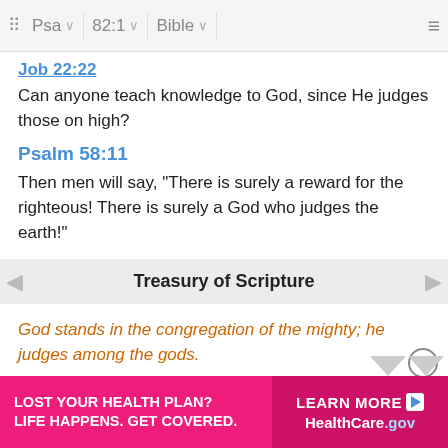⠿ Psa ∨ 82:1 ∨ Bible ∨ ≡
Job 22:22 (truncated/link)
Can anyone teach knowledge to God, since He judges those on high?
Psalm 58:11
Then men will say, "There is surely a reward for the righteous! There is surely a God who judges the earth!"
Treasury of Scripture
God stands in the congregation of the mighty; he judges among the gods.
A.
2 Chronicles 19:6,7
And s... for ye jud... with